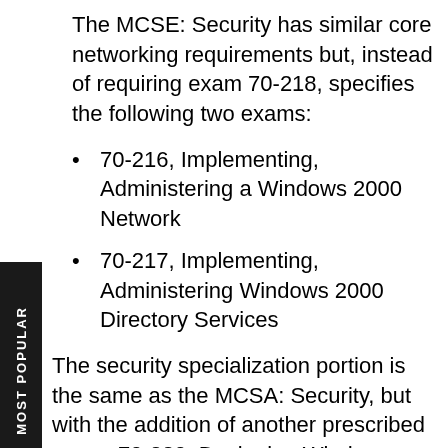The MCSE: Security has similar core networking requirements but, instead of requiring exam 70-218, specifies the following two exams:
70-216, Implementing, Administering a Windows 2000 Network
70-217, Implementing, Administering Windows 2000 Directory Services
The security specialization portion is the same as the MCSA: Security, but with the addition of another prescribed exam, 70-220, Designing Windows 2000 Security.
| MCSE: Security |
| --- |
| 1 Client OS |
| 70-210, Windows 2000 Professional |
| or |
| 70-270, Windows XP |